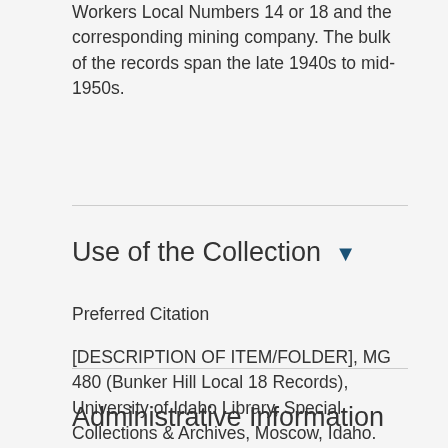Workers Local Numbers 14 or 18 and the corresponding mining company. The bulk of the records span the late 1940s to mid-1950s.
Use of the Collection ▼
Preferred Citation
[DESCRIPTION OF ITEM/FOLDER], MG 480 (Bunker Hill Local 18 Records), University of Idaho Library, Special Collections & Archives, Moscow, Idaho.
Administrative Information ▼